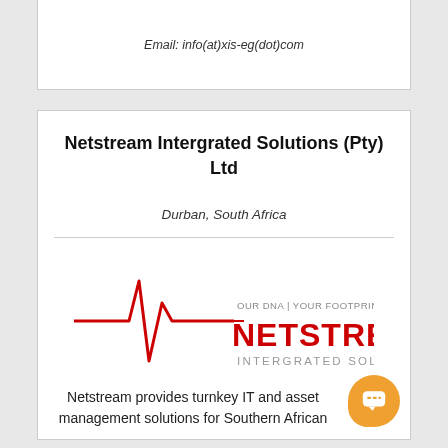Email: info(at)xis-eg(dot)com
Netstream Intergrated Solutions (Pty) Ltd
Durban, South Africa
[Figure (logo): Netstream Intergrated Solutions logo with heartbeat/EKG line graphic in red, text OUR DNA | YOUR FOOTPRINT above NETSTREAM in large red letters, INTERGRATED SOLUTIONS below in gray]
Netstream provides turnkey IT and asset management solutions for Southern African